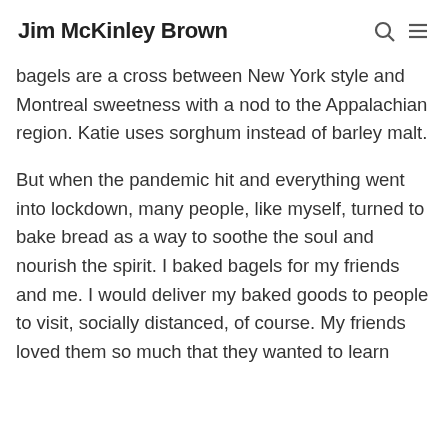Jim McKinley Brown
bagels are a cross between New York style and Montreal sweetness with a nod to the Appalachian region. Katie uses sorghum instead of barley malt.
But when the pandemic hit and everything went into lockdown, many people, like myself, turned to bake bread as a way to soothe the soul and nourish the spirit. I baked bagels for my friends and me. I would deliver my baked goods to people to visit, socially distanced, of course. My friends loved them so much that they wanted to learn